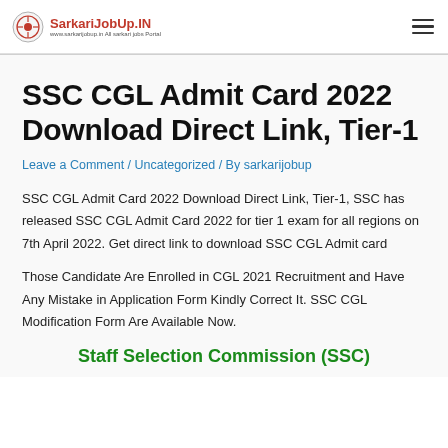SarkariJobUp.IN
SSC CGL Admit Card 2022 Download Direct Link, Tier-1
Leave a Comment / Uncategorized / By sarkarijobup
SSC CGL Admit Card 2022 Download Direct Link, Tier-1, SSC has released SSC CGL Admit Card 2022 for tier 1 exam for all regions on 7th April 2022. Get direct link to download SSC CGL Admit card
Those Candidate Are Enrolled in CGL 2021 Recruitment and Have Any Mistake in Application Form Kindly Correct It. SSC CGL Modification Form Are Available Now.
Staff Selection Commission (SSC)